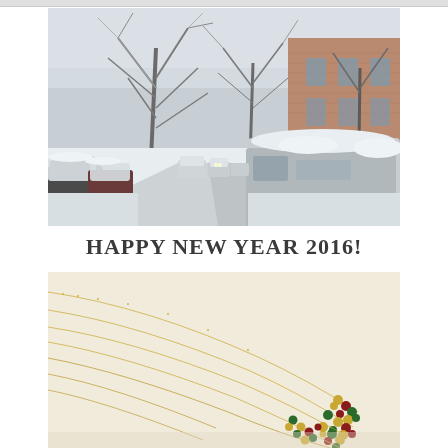[Figure (photo): Winter street scene with snow-covered cars parked along both sides of a city street, bare ice-covered trees, and a brick building visible on the right. A van in the foreground is heavily covered in snow.]
HAPPY NEW YEAR 2016!
[Figure (photo): Close-up of multiple delicate gold chain necklaces with clusters of small beads in red, green, and gold colors at the ends, arranged diagonally on a light beige background.]